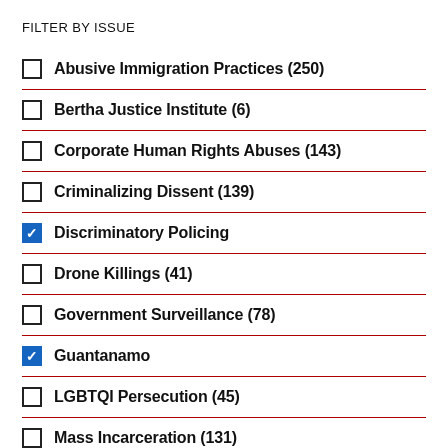FILTER BY ISSUE
Abusive Immigration Practices (250)
Bertha Justice Institute (6)
Corporate Human Rights Abuses (143)
Criminalizing Dissent (139)
Discriminatory Policing [checked]
Drone Killings (41)
Government Surveillance (78)
Guantanamo [checked]
LGBTQI Persecution (45)
Mass Incarceration (131)